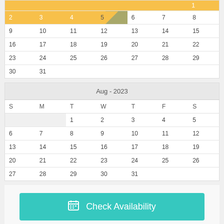| S | M | T | W | T | F | S |
| --- | --- | --- | --- | --- | --- | --- |
| 2 | 3 | 4 | 5 | 6 | 7 | 8 |
| 9 | 10 | 11 | 12 | 13 | 14 | 15 |
| 16 | 17 | 18 | 19 | 20 | 21 | 22 |
| 23 | 24 | 25 | 26 | 27 | 28 | 29 |
| 30 | 31 |  |  |  |  |  |
| S | M | T | W | T | F | S |
| --- | --- | --- | --- | --- | --- | --- |
|  |  | 1 | 2 | 3 | 4 | 5 |
| 6 | 7 | 8 | 9 | 10 | 11 | 12 |
| 13 | 14 | 15 | 16 | 17 | 18 | 19 |
| 20 | 21 | 22 | 23 | 24 | 25 | 26 |
| 27 | 28 | 29 | 30 | 31 |  |  |
Check Availability